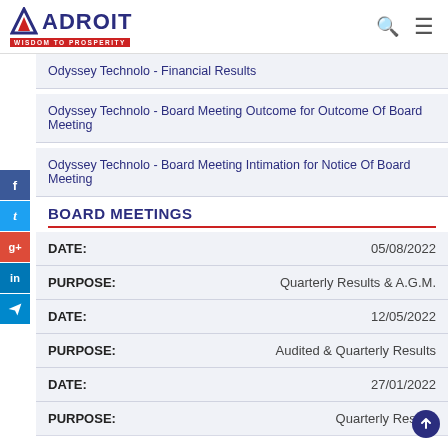ADROIT WISDOM TO PROSPERITY
Odyssey Technolo - Financial Results
Odyssey Technolo - Board Meeting Outcome for Outcome Of Board Meeting
Odyssey Technolo - Board Meeting Intimation for Notice Of Board Meeting
BOARD MEETINGS
| Field | Value |
| --- | --- |
| DATE: | 05/08/2022 |
| PURPOSE: | Quarterly Results & A.G.M. |
| DATE: | 12/05/2022 |
| PURPOSE: | Audited & Quarterly Results |
| DATE: | 27/01/2022 |
| PURPOSE: | Quarterly Results |